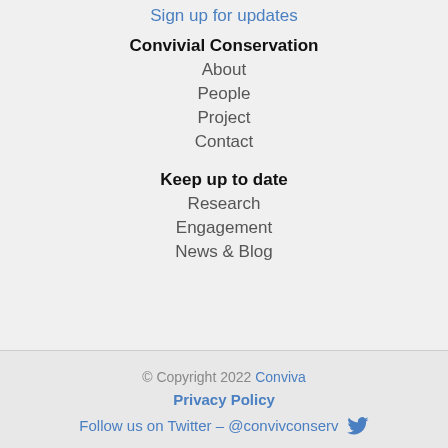Sign up for updates
Convivial Conservation
About
People
Project
Contact
Keep up to date
Research
Engagement
News & Blog
© Copyright 2022 Conviva
Privacy Policy
Follow us on Twitter – @convivconserv
© Copyright 2022 Conviva
Privacy Policy
Follow us on Twitter – @convivconserv